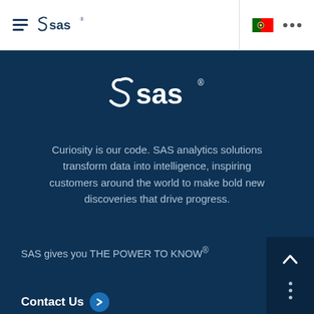SAS navigation bar with hamburger menu, SAS logo, Portuguese flag, and more options
[Figure (logo): SAS white logo on dark blue background]
Curiosity is our code. SAS analytics solutions transform data into intelligence, inspiring customers around the world to make bold new discoveries that drive progress.
SAS gives you THE POWER TO KNOW®
Contact Us